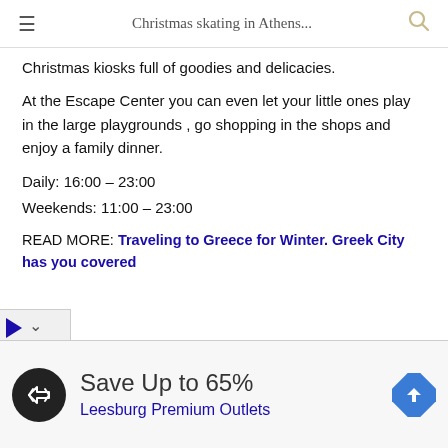Christmas skating in Athens...
Christmas kiosks full of goodies and delicacies.
At the Escape Center you can even let your little ones play in the large playgrounds , go shopping in the shops and enjoy a family dinner.
Daily: 16:00 – 23:00
Weekends: 11:00 – 23:00
READ MORE: Traveling to Greece for Winter. Greek City has you covered
[Figure (screenshot): Advertisement banner: Save Up to 65% Leesburg Premium Outlets]